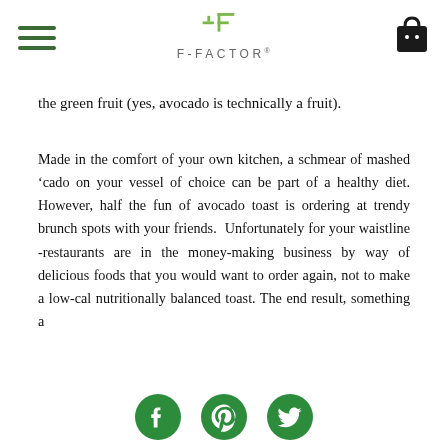F-FACTOR
the green fruit (yes, avocado is technically a fruit).
Made in the comfort of your own kitchen, a schmear of mashed 'cado on your vessel of choice can be part of a healthy diet. However, half the fun of avocado toast is ordering at trendy brunch spots with your friends.  Unfortunately for your waistline -restaurants are in the money-making business by way of delicious foods that you would want to order again, not to make a low-cal nutritionally balanced toast. The end result, something a
[Figure (other): Social media icons: Facebook, Pinterest, Twitter in green circles at the bottom of the page]